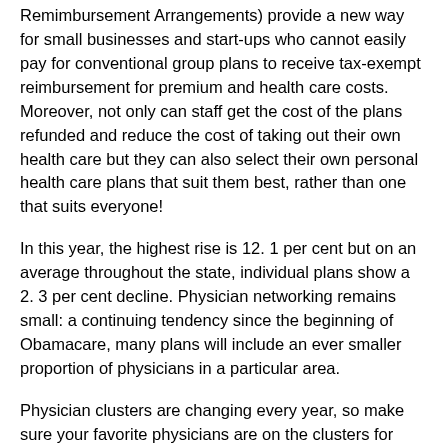Remimbursement Arrangements) provide a new way for small businesses and start-ups who cannot easily pay for conventional group plans to receive tax-exempt reimbursement for premium and health care costs. Moreover, not only can staff get the cost of the plans refunded and reduce the cost of taking out their own health care but they can also select their own personal health care plans that suit them best, rather than one that suits everyone!
In this year, the highest rise is 12. 1 per cent but on an average throughout the state, individual plans show a 2. 3 per cent decline. Physician networking remains small: a continuing tendency since the beginning of Obamacare, many plans will include an ever smaller proportion of physicians in a particular area.
Physician clusters are changing every year, so make sure your favorite physicians are on the clusters for 2019 before you renew your schedule or enroll. Acquired on the Bundesbörse, the policy was available to many individual and family members through income taxes and other forms of funding. In 2019, this funding will also be available in the form of an equivalent health